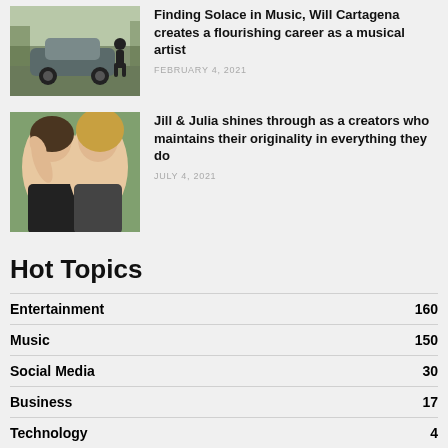[Figure (photo): Person standing next to a car outdoors]
Finding Solace in Music, Will Cartagena creates a flourishing career as a musical artist
FEBRUARY 4, 2021
[Figure (photo): Two young women posing together outdoors]
Jill & Julia shines through as a creators who maintains their originality in everything they do
JULY 4, 2021
Hot Topics
Entertainment  160
Music  150
Social Media  30
Business  17
Technology  4